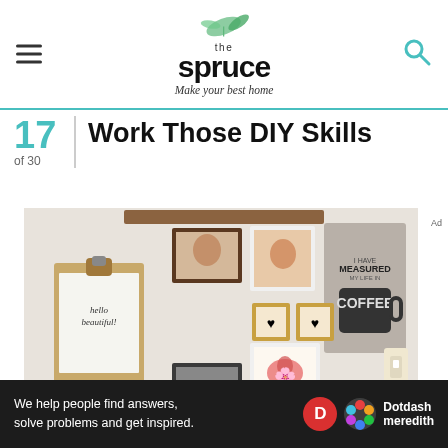the spruce — Make your best home
17 of 30 | Work Those DIY Skills
[Figure (photo): A DIY gallery wall with framed photos, artwork, clipboard print, and coffee sign]
We help people find answers, solve problems and get inspired. Dotdash meredith